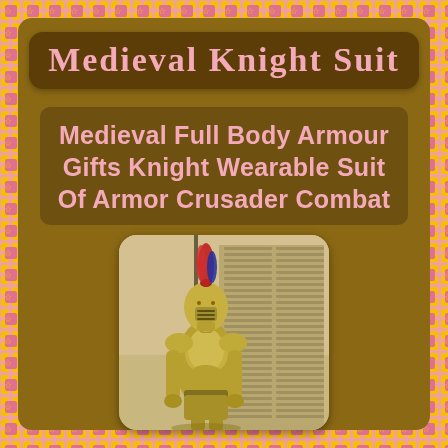Medieval Knight Suit
Medieval Full Body Armour Gifts Knight Wearable Suit Of Armor Crusader Combat
[Figure (photo): A person wearing a full medieval knight suit of armor (gold/brass colored) with a helmet topped by a red and blue feathered plume, holding a long lance/spear, standing in front of a building with shuttered windows.]